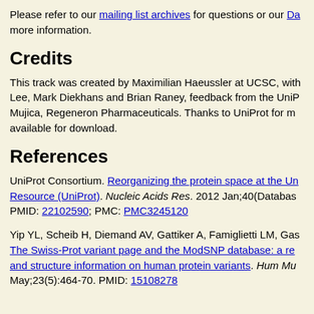Please refer to our mailing list archives for questions or our Da more information.
Credits
This track was created by Maximilian Haeussler at UCSC, with Lee, Mark Diekhans and Brian Raney, feedback from the UniP Mujica, Regeneron Pharmaceuticals. Thanks to UniProt for m available for download.
References
UniProt Consortium. Reorganizing the protein space at the Un Resource (UniProt). Nucleic Acids Res. 2012 Jan;40(Databas PMID: 22102590; PMC: PMC3245120
Yip YL, Scheib H, Diemand AV, Gattiker A, Famiglietti LM, Gas The Swiss-Prot variant page and the ModSNP database: a re and structure information on human protein variants. Hum Mu May;23(5):464-70. PMID: 15108278